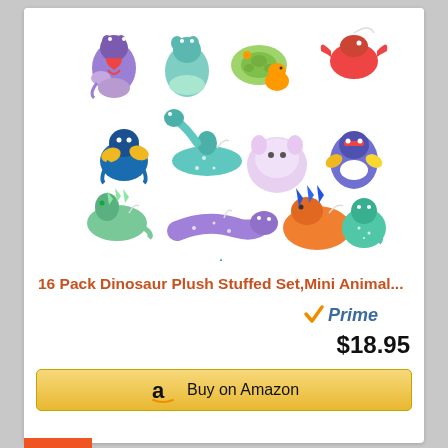[Figure (photo): Collection of 16 colorful mini dinosaur and animal plush stuffed toys arranged in a collage on white background. Various dinosaurs in bright colors including purple, teal, orange, red, green, and multicolor designs.]
16 Pack Dinosaur Plush Stuffed Set,Mini Animal...
[Figure (logo): Amazon Prime badge with orange checkmark and blue italic 'Prime' text]
$18.95
Buy on Amazon